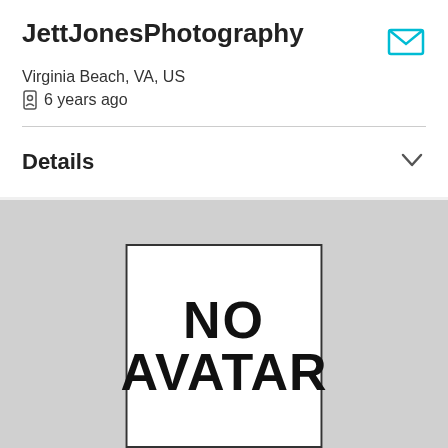JettJonesPhotography
Virginia Beach, VA, US
6 years ago
Details
[Figure (illustration): No avatar placeholder image — white box with black border showing 'NO AVATAR' text in large bold letters]